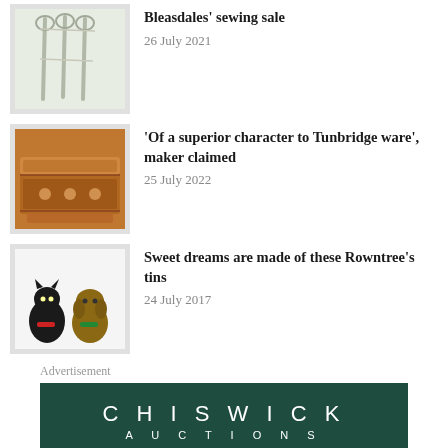[Figure (photo): Photo of what appears to be scissors or sewing tools on a light background]
Bleasdales' sewing sale
26 July 2021
[Figure (photo): Photo of a decorative wooden box with inlay work, likely Tunbridge ware or similar]
'Of a superior character to Tunbridge ware', maker claimed
25 July 2022
[Figure (photo): Photo of two ceramic animal figurines — a black cat and a dog — likely Rowntree's tins]
Sweet dreams are made of these Rowntree's tins
24 July 2017
Advertisement
[Figure (other): Chiswick Auctions advertisement. Dark green background. Text reads: CHISWICK AUCTIONS NOW RECRUITING Head of Asian Art]